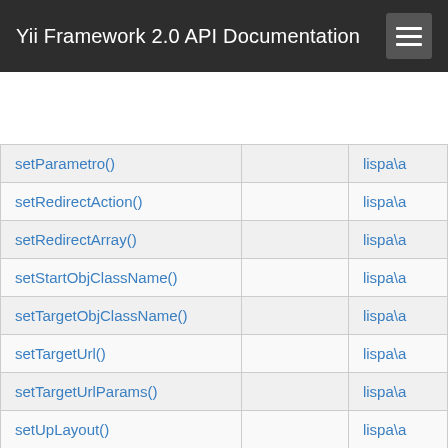Yii Framework 2.0 API Documentation
| Method | Description | Defined By |
| --- | --- | --- |
| setParametro() |  | lispa\a |
| setRedirectAction() |  | lispa\a |
| setRedirectArray() |  | lispa\a |
| setStartObjClassName() |  | lispa\a |
| setTargetObjClassName() |  | lispa\a |
| setTargetUrl() |  | lispa\a |
| setTargetUrlParams() |  | lispa\a |
| setUpLayout() |  | lispa\a |
| setUrl() |  | lispa\a |
| setView() | Sets the view object to be used by this controller | yii\bas |